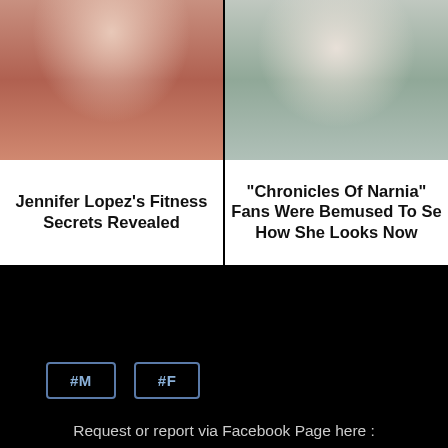[Figure (photo): Two clickbait article cards side by side. Left card shows a photo of a muscular person in a red outfit with text 'Jennifer Lopez's Fitness Secrets Revealed'. Right card shows a photo of a young girl with curly hair with text '"Chronicles Of Narnia" Fans Were Bemused To See How She Looks Now'.]
Jennifer Lopez's Fitness Secrets Revealed
"Chronicles Of Narnia" Fans Were Bemused To See How She Looks Now
#M
#F
Request or report via Facebook Page here :